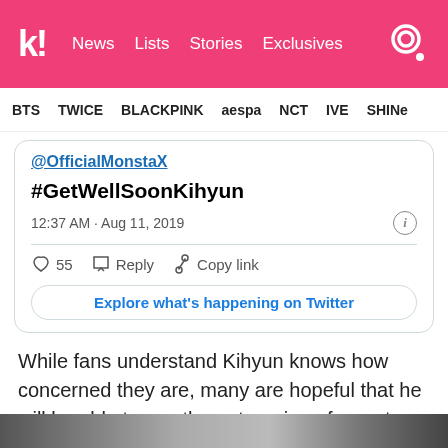k! News Lists Stories Exclusives
BTS  TWICE  BLACKPINK  aespa  NCT  IVE  SHINee
@OfficialMonstaX
#GetWellSoonKihyun
12:37 AM · Aug 11, 2019
♡ 55  Reply  Copy link
Explore what's happening on Twitter
While fans understand Kihyun knows how concerned they are, many are hopeful that he will be able to see the outpouring of sweet messages.
[Figure (screenshot): Bottom edge of an image, dark strip visible at bottom of page]